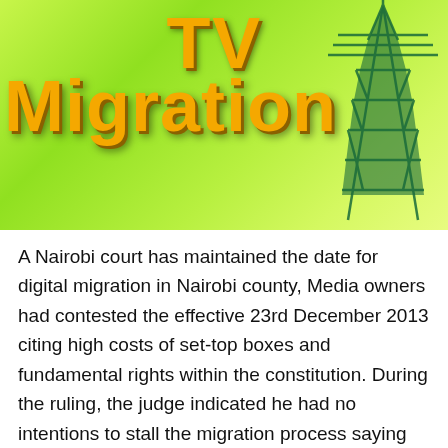[Figure (illustration): Green gradient background with orange bold text reading 'TV Migration' and a telecommunications tower silhouette on the right side]
A Nairobi court has maintained the date for digital migration in Nairobi county, Media owners had contested the effective 23rd December 2013 citing high costs of set-top boxes and fundamental rights within the constitution. During the ruling, the judge indicated he had no intentions to stall the migration process saying the concerned parties had enough time to prepare. The judge further cited the fact that Kenya had signed an international treaty to